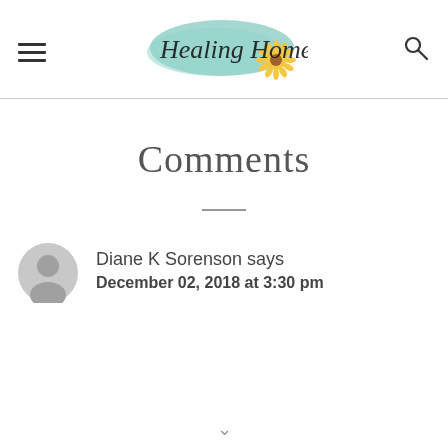Healing Home
Comments
Diane K Sorenson says
December 02, 2018 at 3:30 pm